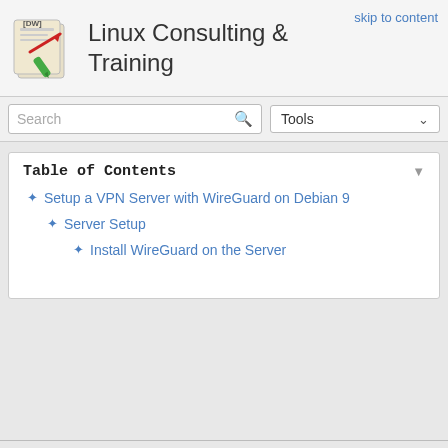skip to content
Linux Consulting & Training
Table of Contents
Setup a VPN Server with WireGuard on Debian 9
Server Setup
Install WireGuard on the Server